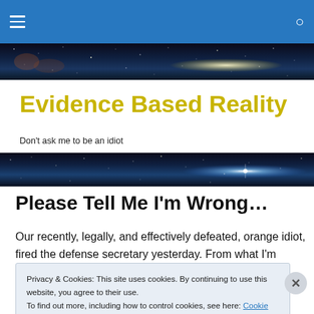Evidence Based Reality — navigation bar with hamburger menu and search icon
Evidence Based Reality
Don't ask me to be an idiot
Please Tell Me I'm Wrong…
Our recently, legally, and effectively defeated, orange idiot, fired the defense secretary yesterday. From what I'm
Privacy & Cookies: This site uses cookies. By continuing to use this website, you agree to their use.
To find out more, including how to control cookies, see here: Cookie Policy
Close and accept